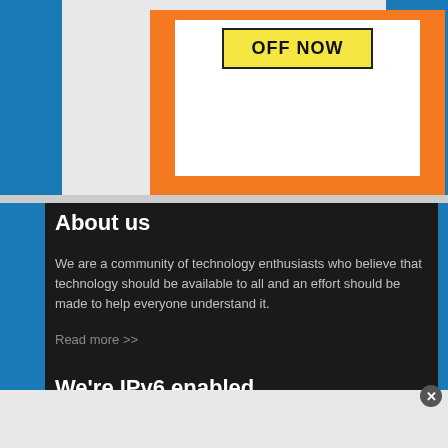[Figure (screenshot): Advertisement banner with orange background, white inner box, and yellow button labeled OFF NOW]
About us
We are a community of technology enthusiasts who believe that technology should be available to all and an effort should be made to help everyone understand it.
Read more >>
We're IPv6 enabled